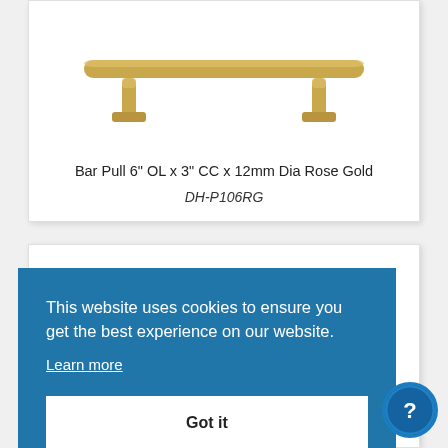[Figure (photo): A gold/rose gold bar pull cabinet handle shown against white background]
Bar Pull 6" OL x 3" CC x 12mm Dia Rose Gold
DH-P106RG
This website uses cookies to ensure you get the best experience on our website.
Learn more
Got it